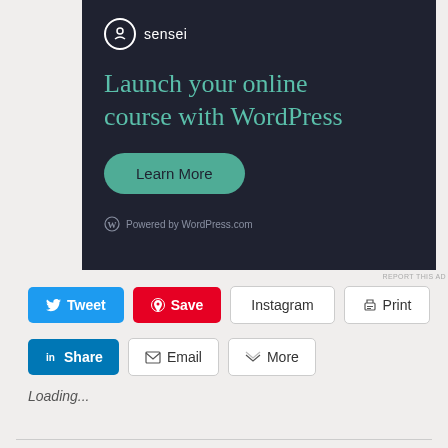[Figure (screenshot): Sensei advertisement banner on dark background: Sensei logo at top left, headline 'Launch your online course with WordPress' in teal, a 'Learn More' teal rounded button, and 'Powered by WordPress.com' footer text.]
REPORT THIS AD
Tweet
Save
Instagram
Print
Share
Email
More
Loading...